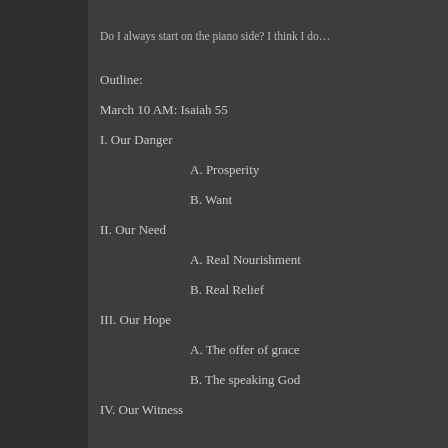Do I always start on the piano side? I think I do…
Outline:
March 10 AM: Isaiah 55
I. Our Danger
A. Prosperity
B. Want
II. Our Need
A. Real Nourishment
B. Real Relief
III. Our Hope
A. The offer of grace
B. The speaking God
IV. Our Witness